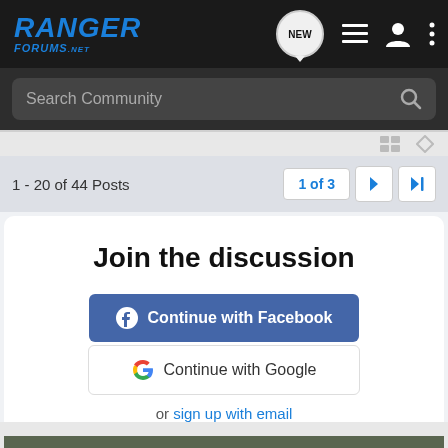Ranger Forums
Search Community
1 - 20 of 44 Posts
1 of 3
Join the discussion
Continue with Facebook
Continue with Google
or sign up with email
[Figure (photo): Advertisement banner for The New 2022 Silverado by Chevrolet, showing a truck in a forest setting with Explore button]